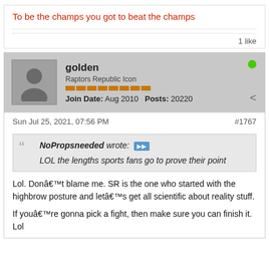To be the champs you got to beat the champs
1 like
golden
Raptors Republic Icon
Join Date: Aug 2010  Posts: 20220
Sun Jul 25, 2021, 07:56 PM
#1767
NoPropsneeded wrote: LOL the lengths sports fans go to prove their point
Lol. Don’t blame me. SR is the one who started with the highbrow posture and let’s get all scientific about reality stuff.

If you’re gonna pick a fight, then make sure you can finish it. Lol